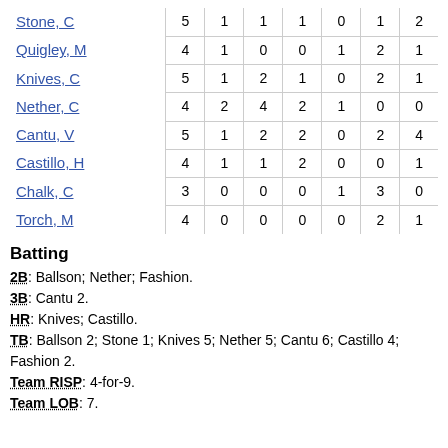| Player |  |  |  |  |  |  |  |
| --- | --- | --- | --- | --- | --- | --- | --- |
| Stone, C | 5 | 1 | 1 | 1 | 0 | 1 | 2 |
| Quigley, M | 4 | 1 | 0 | 0 | 1 | 2 | 1 |
| Knives, C | 5 | 1 | 2 | 1 | 0 | 2 | 1 |
| Nether, C | 4 | 2 | 4 | 2 | 1 | 0 | 0 |
| Cantu, V | 5 | 1 | 2 | 2 | 0 | 2 | 4 |
| Castillo, H | 4 | 1 | 1 | 2 | 0 | 0 | 1 |
| Chalk, C | 3 | 0 | 0 | 0 | 1 | 3 | 0 |
| Torch, M | 4 | 0 | 0 | 0 | 0 | 2 | 1 |
Batting
2B: Ballson; Nether; Fashion.
3B: Cantu 2.
HR: Knives; Castillo.
TB: Ballson 2; Stone 1; Knives 5; Nether 5; Cantu 6; Castillo 4; Fashion 2.
Team RISP: 4-for-9.
Team LOB: 7.